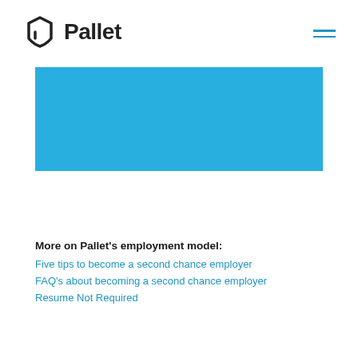Pallet
[Figure (other): Blue rectangular banner image placeholder]
More on Pallet's employment model:
Five tips to become a second chance employer
FAQ's about becoming a second chance employer
Resume Not Required